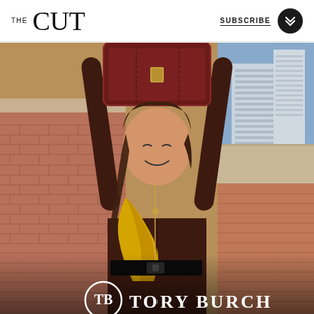THE CUT | SUBSCRIBE
[Figure (photo): Tory Burch fashion advertisement. A smiling young woman with long brown hair holds a dark burgundy leather handbag above her head with both arms raised. She wears a dark brown and yellow color-block long-sleeve bodysuit with a zipper and a black leather belt. She stands in front of a brick wall with a city skyline visible in the background. The Tory Burch logo and brand name appear at the bottom of the image in white.]